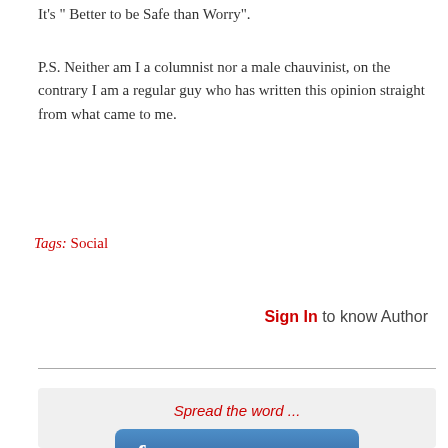It's " Better to be Safe than Worry".
P.S. Neither am I a columnist nor a male chauvinist, on the contrary I am a regular guy who has written this opinion straight from what came to me.
Tags: Social
Sign In to know Author
Spread the word ...
[Figure (screenshot): Share on Facebook button with Facebook 'f' logo icon in blue gradient style]